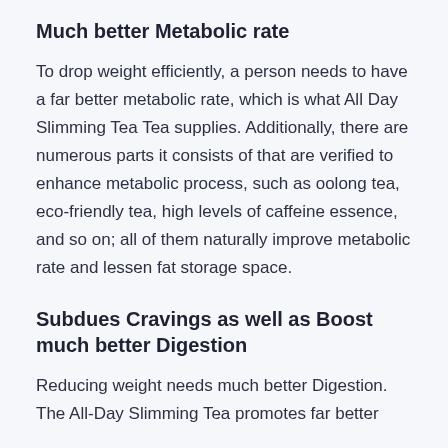Much better Metabolic rate
To drop weight efficiently, a person needs to have a far better metabolic rate, which is what All Day Slimming Tea Tea supplies. Additionally, there are numerous parts it consists of that are verified to enhance metabolic process, such as oolong tea, eco-friendly tea, high levels of caffeine essence, and so on; all of them naturally improve metabolic rate and lessen fat storage space.
Subdues Cravings as well as Boost much better Digestion
Reducing weight needs much better Digestion. The All-Day Slimming Tea promotes far better